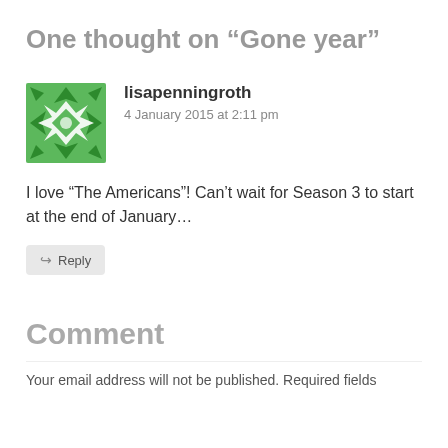One thought on “Gone year”
[Figure (illustration): Green geometric/floral avatar icon for user lisapenningroth]
lisapenningroth
4 January 2015 at 2:11 pm
I love “The Americans”! Can’t wait for Season 3 to start at the end of January…
↪ Reply
Comment
Your email address will not be published. Required fields